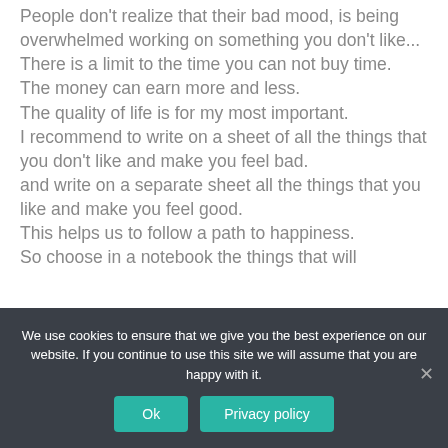People don't realize that their bad mood, is being overwhelmed working on something you don't like... There is a limit to the time you can not buy time. The money can earn more and less. The quality of life is for my most important. I recommend to write on a sheet of all the things that you don't like and make you feel bad. and write on a separate sheet all the things that you like and make you feel good. This helps us to follow a path to happiness. So choose in a notebook the things that will
We use cookies to ensure that we give you the best experience on our website. If you continue to use this site we will assume that you are happy with it.